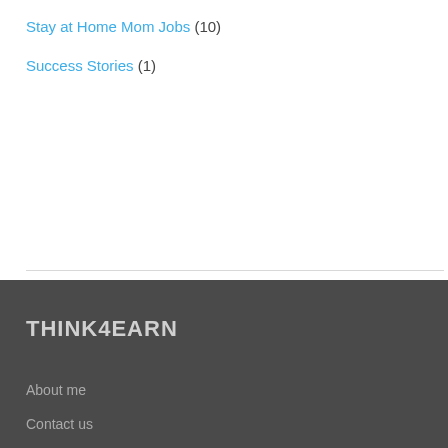Stay at Home Mom Jobs (10)
Success Stories (1)
THINK4EARN
About me
Contact us